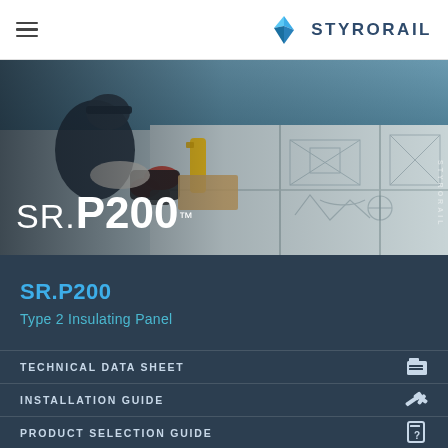STYRORAIL
[Figure (photo): Worker wearing red gloves and hard hat installing SR.P200 insulating panel with a nail gun. The panel shows diagrams/markings. The product name SR.P200 with trademark symbol is overlaid on the image in white text.]
SR.P200
Type 2 Insulating Panel
TECHNICAL DATA SHEET
INSTALLATION GUIDE
PRODUCT SELECTION GUIDE